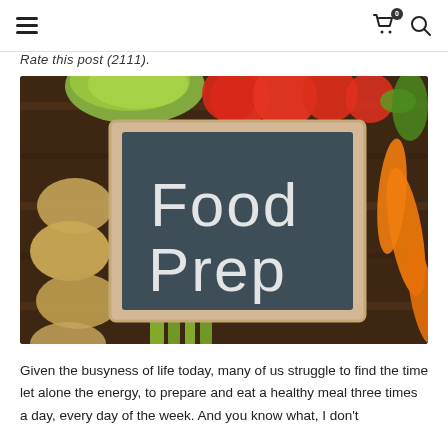≡  🛒⁰  🔍
Rate this post (2111).
[Figure (photo): A chalkboard sign reading 'Food Prep' in white chalk lettering, surrounded by fresh vegetables including tomatoes, carrots, potatoes, cabbage, celery, and a cucumber on a dark wooden surface.]
Given the busyness of life today, many of us struggle to find the time let alone the energy, to prepare and eat a healthy meal three times a day, every day of the week. And you know what, I don't